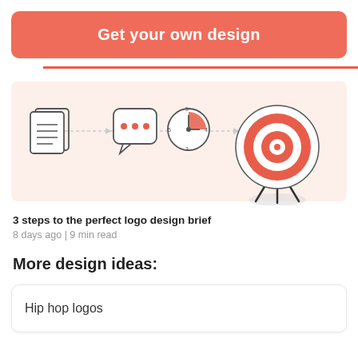Get your own design
[Figure (illustration): Infographic showing 3 steps process: document icon, chat bubble icon with dots, clock/timer icon, and a target/bullseye on a stand — connected by dashed arrows on a light peach background.]
3 steps to the perfect logo design brief
8 days ago | 9 min read
More design ideas:
Hip hop logos